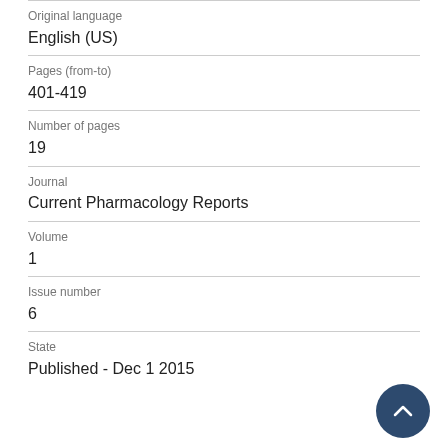Original language
English (US)
Pages (from-to)
401-419
Number of pages
19
Journal
Current Pharmacology Reports
Volume
1
Issue number
6
State
Published - Dec 1 2015